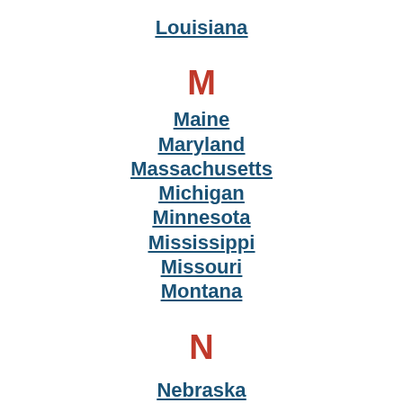Louisiana
M
Maine
Maryland
Massachusetts
Michigan
Minnesota
Mississippi
Missouri
Montana
N
Nebraska